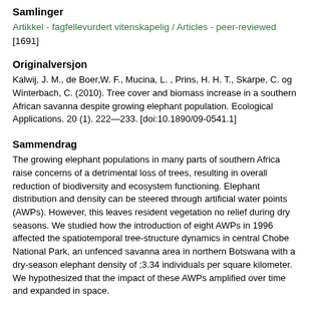Samlinger
Artikkel - fagfellevurdert vitenskapelig / Articles - peer-reviewed
[1691]
Originalversjon
Kalwij, J. M., de Boer,W. F., Mucina, L. , Prins, H. H. T., Skarpe, C. og Winterbach, C. (2010). Tree cover and biomass increase in a southern African savanna despite growing elephant population. Ecological Applications. 20 (1). 222—233. [doi:10.1890/09-0541.1]
Sammendrag
The growing elephant populations in many parts of southern Africa raise concerns of a detrimental loss of trees, resulting in overall reduction of biodiversity and ecosystem functioning. Elephant distribution and density can be steered through artificial water points (AWPs). However, this leaves resident vegetation no relief during dry seasons. We studied how the introduction of eight AWPs in 1996 affected the spatiotemporal tree-structure dynamics in central Chobe National Park, an unfenced savanna area in northern Botswana with a dry-season elephant density of ;3.34 individuals per square kilometer. We hypothesized that the impact of these AWPs amplified over time and expanded in space.